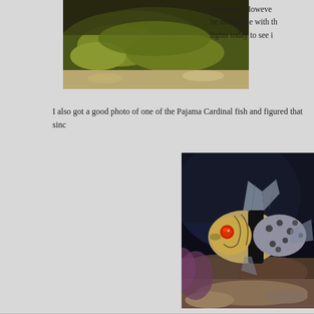[Figure (photo): Close-up photo of green/mossy coral or rock underwater, partially cropped at top of page]
purposes.  However, be doing fine with th lights today to see i
I also got a good photo of one of the Pajama Cardinal fish and figured that sinc
[Figure (photo): Close-up photograph of a Pajama Cardinal fish with a bright red eye, spotted body pattern, and fins visible, surrounded by coral]